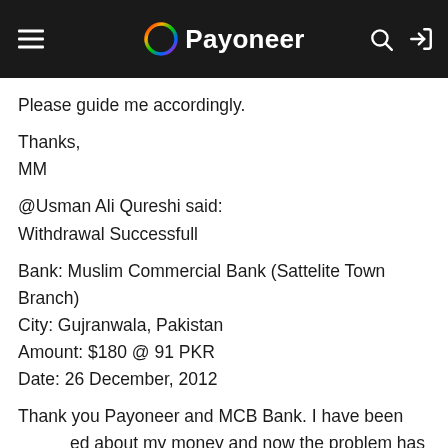Payoneer
Please guide me accordingly.
Thanks,
MM
@Usman Ali Qureshi said:
Withdrawal Successfull
Bank: Muslim Commercial Bank (Sattelite Town Branch)
City: Gujranwala, Pakistan
Amount: $180 @ 91 PKR
Date: 26 December, 2012
Thank you Payoneer and MCB Bank. I have been [concern]ed about my money and now the problem has been solved. If anybody is from Gujranwala, Pakistan